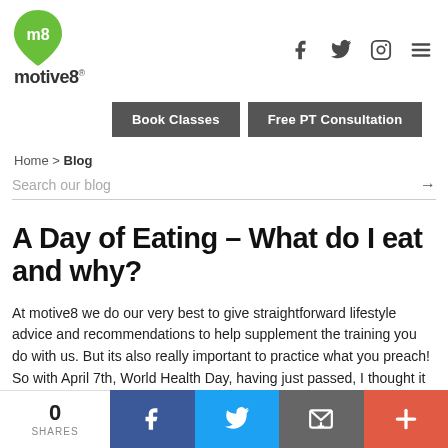[Figure (logo): motive8 logo — green teardrop icon with 'm8' text inside, and 'motive8' wordmark below]
[Figure (infographic): Social media icons: Facebook, Twitter, Instagram, hamburger menu]
[Figure (infographic): Navigation buttons: 'Book Classes' and 'Free PT Consultation' in dark grey]
Home > Blog
Search our blog →
A Day of Eating – What do I eat and why?
At motive8 we do our very best to give straightforward lifestyle advice and recommendations to help supplement the training you do with us. But its also really important to practice what you preach! So with April 7th, World Health Day, having just passed, I thought it would be a good idea to break down what [...]
[Figure (infographic): Bottom share bar: 0 SHARES, Facebook, Twitter, Email, Plus icons]